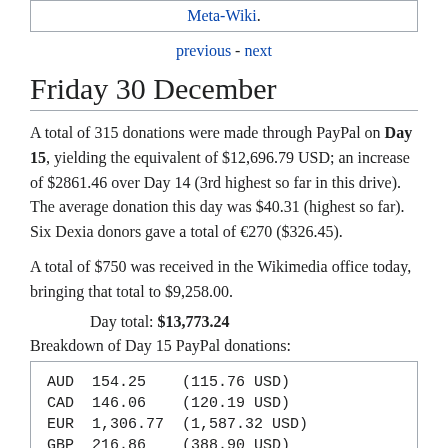Meta-Wiki.
previous - next
Friday 30 December
A total of 315 donations were made through PayPal on Day 15, yielding the equivalent of $12,696.79 USD; an increase of $2861.46 over Day 14 (3rd highest so far in this drive). The average donation this day was $40.31 (highest so far). Six Dexia donors gave a total of €270 ($326.45).
A total of $750 was received in the Wikimedia office today, bringing that total to $9,258.00.
Day total: $13,773.24
Breakdown of Day 15 PayPal donations:
| Currency | Amount | USD Equivalent |
| --- | --- | --- |
| AUD | 154.25 | (115.76 USD) |
| CAD | 146.06 | (120.19 USD) |
| EUR | 1,306.77 | (1,587.32 USD) |
| GBP | 216.86 | (388.90 USD) |